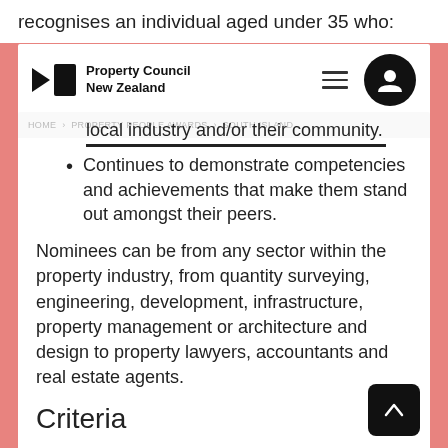recognises an individual aged under 35 who:
[Figure (logo): Property Council New Zealand logo with navigation hamburger menu and user avatar icon]
local industry and/or their community.
Continues to demonstrate competencies and achievements that make them stand out amongst their peers.
Nominees can be from any sector within the property industry, from quantity surveying, engineering, development, infrastructure, property management or architecture and design to property lawyers, accountants and real estate agents.
Criteria
Introduction: Provide a statement of the nominees academic and/or professional history, demonstrating